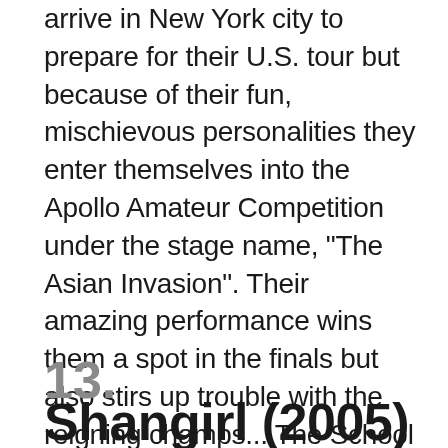taking New York City by storm. The girls arrive in New York city to prepare for their U.S. tour but because of their fun, mischievous personalities they enter themselves into the Apollo Amateur Competition under the stage name, "The Asian Invasion". Their amazing performance wins them a spot in the finals but also stirs up trouble with the reigning champs... The School Gyrls. Join Yenny, Yubin, Sun, Sohee, and Lim on this hilarious journey as they navigate their way through friendships, rivals, loyalty and crushes to prove they have what it takes to make it in the Big City. Written by Krystal M. Harris
13.
Shangirl (2005)